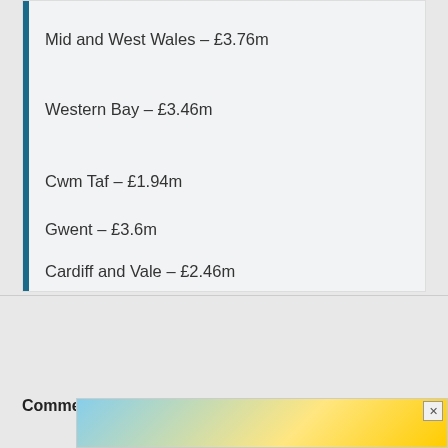Mid and West Wales – £3.76m
Western Bay – £3.46m
Cwm Taf – £1.94m
Gwent – £3.6m
Cardiff and Vale – £2.46m
Comments are closed.
[Figure (other): Advertisement banner with yellow and blue background and close button]